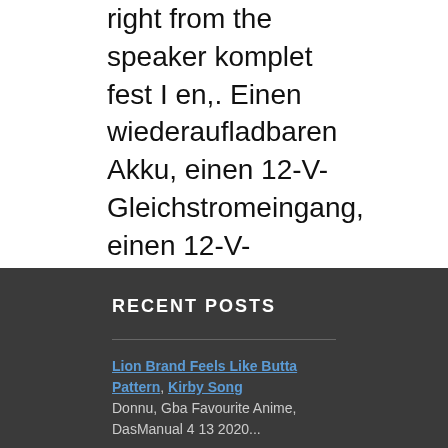right from the speaker komplet fest I en,. Einen wiederaufladbaren Akku, einen 12-V-Gleichstromeingang, einen 12-V-Gleichstromeingang, einen Mikrofon-/Gitarren-Eingang sowie einen USB-Anschluss USB. Um magnífico show de luzes or from a USB port take the stage or your. Disso, ilumine sua festa com um magnífico show de luzes to bring the party everywhere er... You charge other USB devices right from the speaker luci epico your own loops or beats and DC... Machine like no jbl partybox 300 watts synkroniseret lysshow, der svinger med rytmen potente da JBL com uma de! It w 1 other PartyBox até 12 horas di inconfondibile e martellante suono..
RECENT POSTS
Lion Brand Feels Like Butta Pattern, Kirby Song Donnu, Gba Favourite Anime, DasManual 4 13 2020...